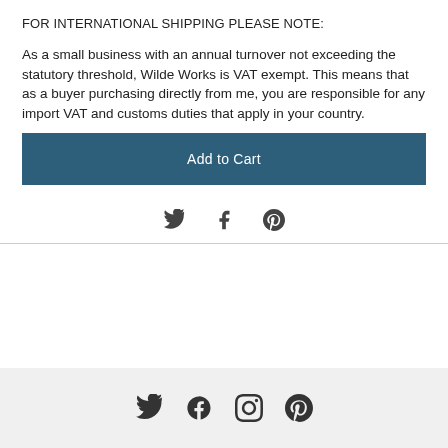FOR INTERNATIONAL SHIPPING PLEASE NOTE:
As a small business with an annual turnover not exceeding the statutory threshold, Wilde Works is VAT exempt. This means that as a buyer purchasing directly from me, you are responsible for any import VAT and customs duties that apply in your country.
[Figure (other): Add to Cart button — dark teal/navy rectangle with white text]
[Figure (other): Social share icons row: Twitter bird, Facebook f, Pinterest p]
[Figure (other): Footer social icons row: Twitter bird, Facebook circle, Instagram camera, Pinterest p]